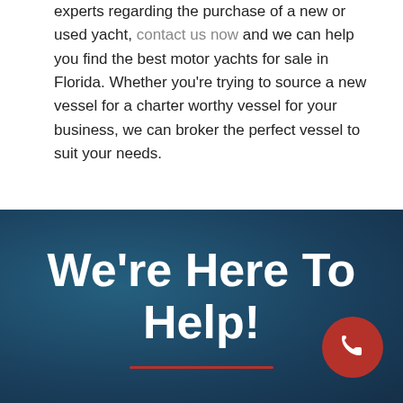experts regarding the purchase of a new or used yacht, contact us now and we can help you find the best motor yachts for sale in Florida. Whether you're trying to source a new vessel for a charter worthy vessel for your business, we can broker the perfect vessel to suit your needs.
August 16th, 2021  |  Adventures In Yachting
We're Here To Help!